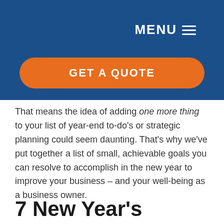MENU
[Figure (other): Orange rounded button labeled GET A QUOTE on dark blue header background]
That means the idea of adding one more thing to your list of year-end to-do's or strategic planning could seem daunting. That's why we've put together a list of small, achievable goals you can resolve to accomplish in the new year to improve your business – and your well-being as a business owner.
7 New Year's